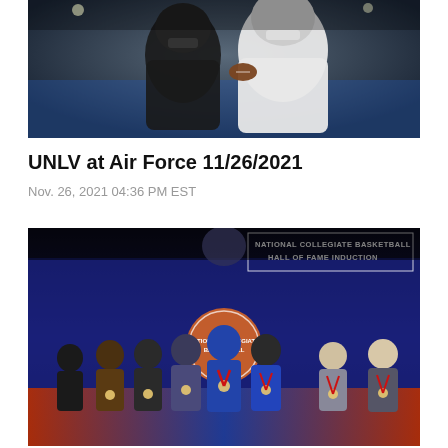[Figure (photo): Football players in action — quarterback holding ball during game, UNLV at Air Force, dark stadium background]
UNLV at Air Force 11/26/2021
Nov. 26, 2021 04:36 PM EST
[Figure (photo): National Collegiate Basketball Hall of Fame Induction ceremony — group of inductees wearing medals on stage with blue backdrop and Hall of Fame logo]